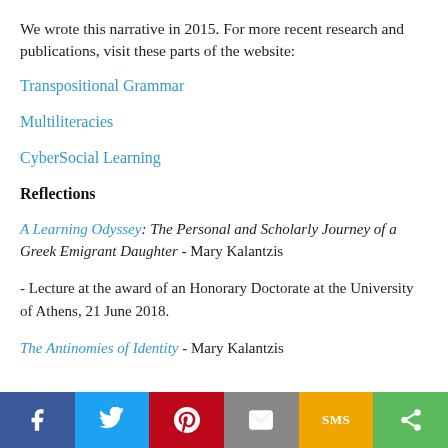We wrote this narrative in 2015. For more recent research and publications, visit these parts of the website:
Transpositional Grammar
Multiliteracies
CyberSocial Learning
Reflections
A Learning Odyssey: The Personal and Scholarly Journey of a Greek Emigrant Daughter - Mary Kalantzis
- Lecture at the award of an Honorary Doctorate at the University of Athens, 21 June 2018.
The Antinomies of Identity - Mary Kalantzis